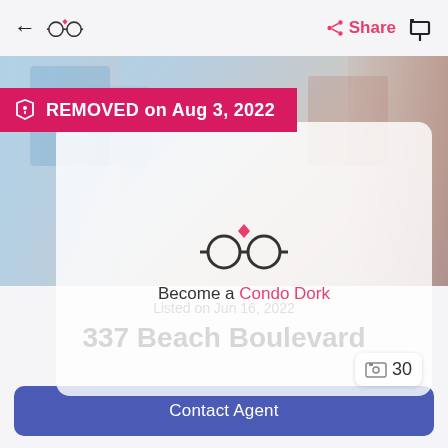← 🔍 Share 🏠
[Figure (screenshot): Real estate listing hero image with blurred property photo background]
REMOVED on Aug 3, 2022
[Figure (logo): Condo Dork glasses logo with pink heart on top, inside a frosted white card overlay]
Become a Condo Dork
30 photos badge
Listed on Jun 16, 2022
337 Beach Boulevard
Contact Agent